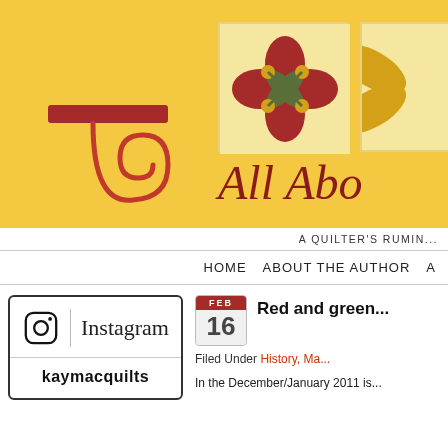[Figure (illustration): Banner header for a quilting blog called 'All About...' with yellow/gold background, a red scroll/thread symbol on left, a quilt block tile in center with red flower and green leaves design, and partial tile on right. Text reads 'All Abo' in dark red italic serif font at bottom.]
A QUILTER'S RUMIN...
HOME   ABOUT THE AUTHOR   A...
[Figure (logo): Instagram widget box with Instagram icon (camera outline), vertical divider, 'Instagram' wordmark in script font, and 'kaymacquilts' handle in bold sans-serif below a horizontal divider.]
Red and green...
Filed Under History, Ma...
In the December/January 2011 is...